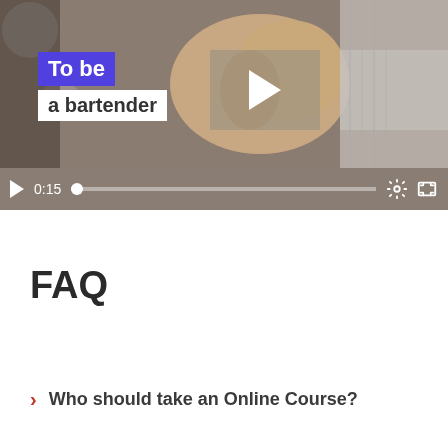[Figure (screenshot): Video player screenshot showing a bartender preparing a drink. The thumbnail has text overlays reading 'To be' (in white on purple background) and 'a bartender' (in dark text on white background). A play button is visible overlaid on the video. The video controls bar at the bottom shows a play button, time display '0:15', a progress bar, settings gear icon, and fullscreen icon on a gray/brown background.]
FAQ
Who should take an Online Course?